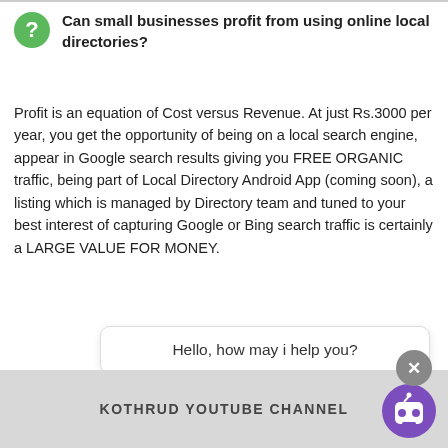Can small businesses profit from using online local directories?
Profit is an equation of Cost versus Revenue. At just Rs.3000 per year, you get the opportunity of being on a local search engine, appear in Google search results giving you FREE ORGANIC traffic, being part of Local Directory Android App (coming soon), a listing which is managed by Directory team and tuned to your best interest of capturing Google or Bing search traffic is certainly a LARGE VALUE FOR MONEY.
Hello, how may i help you?
KOTHRUD YOUTUBE CHANNEL